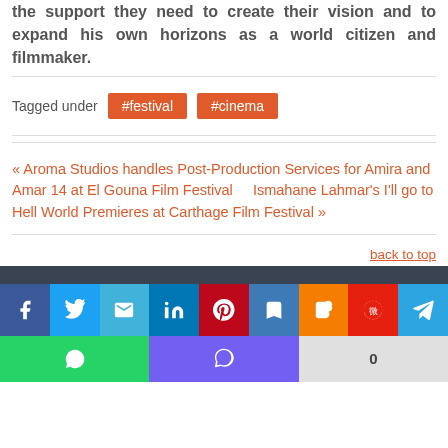the support they need to create their vision and to expand his own horizons as a world citizen and filmmaker.
Tagged under #festival #cinema
« Aroma Studios handles Post-Production Services for Amira and Amar 14 at El Gouna Film Festival    Ismahane Lahmar's I'll go to Hell World Premieres at Carthage Film Festival »
back to top
[Figure (other): Social media sharing icons bar: Facebook, Twitter, Email, LinkedIn, Pinterest, Bookmark, Blogger, Weibo, Telegram, WhatsApp, Viber, and a share count of 0]